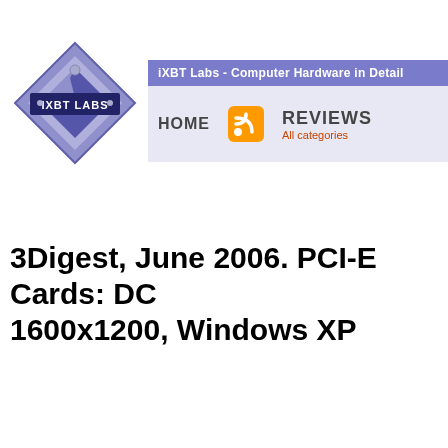[Figure (logo): iXBT Labs diamond-shaped logo with stylized text IXBT LABS in blue/purple tones]
iXBT Labs - Computer Hardware in Detail
HOME
REVIEWS
All categories
3Digest, June 2006. PCI-E Cards: DC 1600x1200, Windows XP